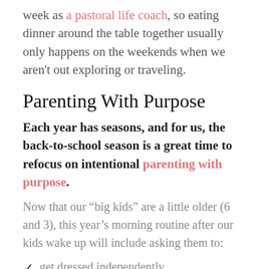week as a pastoral life coach, so eating dinner around the table together usually only happens on the weekends when we aren't out exploring or traveling.
Parenting With Purpose
Each year has seasons, and for us, the back-to-school season is a great time to refocus on intentional parenting with purpose.
Now that our “big kids” are a little older (6 and 3), this year’s morning routine after our kids wake up will include asking them to:
get dressed independently
put lunch in backpack & backpack by the door
(partially visible)